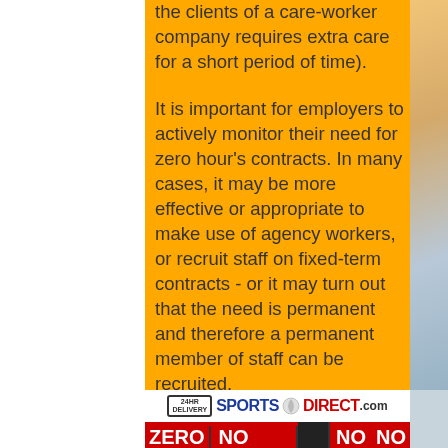the clients of a care-worker company requires extra care for a short period of time).
It is important for employers to actively monitor their need for zero hour's contracts. In many cases, it may be more effective or appropriate to make use of agency workers, or recruit staff on fixed-term contracts - or it may turn out that the need is permanent and therefore a permanent member of staff can be recruited.
[Figure (photo): Sports Direct store front sign showing '24HR DELIVERY', 'SPORTS DIRECT.com' logo, and red banners at the bottom reading 'ZERO NO NO NO']